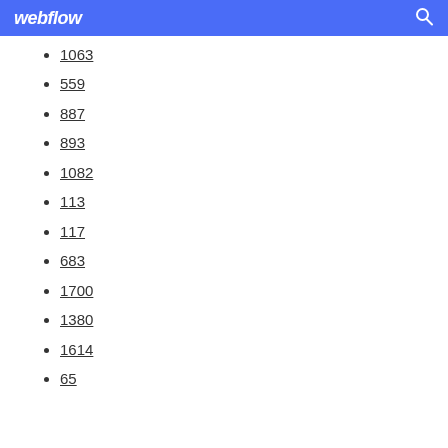webflow
1063
559
887
893
1082
113
117
683
1700
1380
1614
65